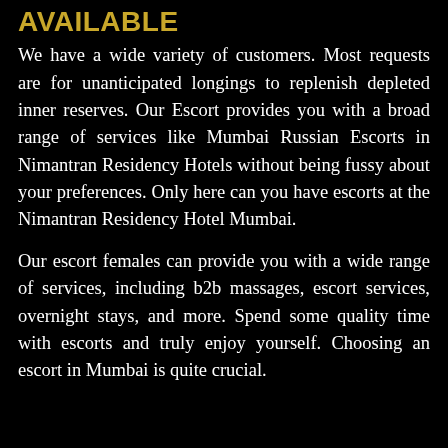AVAILABLE
We have a wide variety of customers. Most requests are for unanticipated longings to replenish depleted inner reserves. Our Escort provides you with a broad range of services like Mumbai Russian Escorts in Nimantran Residency Hotels without being fussy about your preferences. Only here can you have escorts at the Nimantran Residency Hotel Mumbai.
Our escort females can provide you with a wide range of services, including b2b massages, escort services, overnight stays, and more. Spend some quality time with escorts and truly enjoy yourself. Choosing an escort in Mumbai is quite crucial.